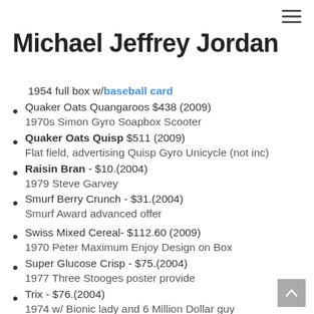≡
Michael Jeffrey Jordan
1954 full box w/baseball card
Quaker Oats Quangaroos $438 (2009)
1970s Simon Gyro Soapbox Scooter
Quaker Oats Quisp $511 (2009)
Flat field, advertising Quisp Gyro Unicycle (not inc)
Raisin Bran - $10.(2004)
1979 Steve Garvey
Smurf Berry Crunch - $31.(2004)
Smurf Award advanced offer
Swiss Mixed Cereal- $112.60 (2009)
1970 Peter Maximum Enjoy Design on Box
Super Glucose Crisp - $75.(2004)
1977 Three Stooges poster provide
Trix - $76.(2004)
1974 w/ Bionic lady and 6 Million Dollar guy
Wheaties $??.(2004)